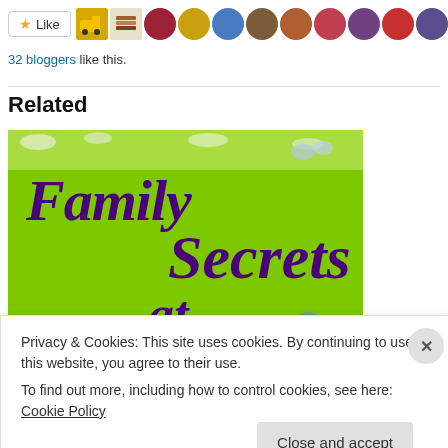[Figure (screenshot): Like button with star icon followed by a row of blogger avatar thumbnails]
32 bloggers like this.
Related
[Figure (illustration): Book cover for 'Family Secrets at...' with bright green background and purple cursive title text]
Privacy & Cookies: This site uses cookies. By continuing to use this website, you agree to their use.
To find out more, including how to control cookies, see here: Cookie Policy
Close and accept